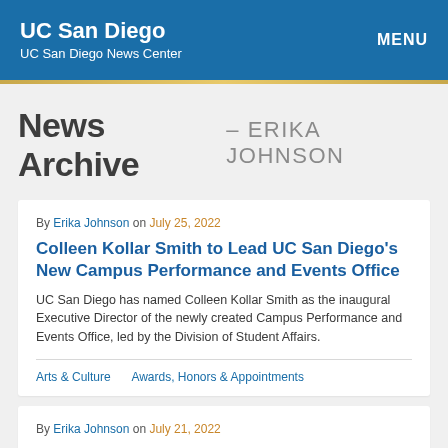UC San Diego | UC San Diego News Center | MENU
News Archive - ERIKA JOHNSON
By Erika Johnson on July 25, 2022
Colleen Kollar Smith to Lead UC San Diego's New Campus Performance and Events Office
UC San Diego has named Colleen Kollar Smith as the inaugural Executive Director of the newly created Campus Performance and Events Office, led by the Division of Student Affairs.
Arts & Culture     Awards, Honors & Appointments
By Erika Johnson on July 21, 2022